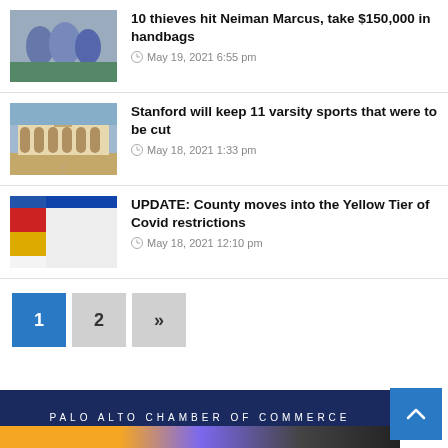[Figure (photo): Thumbnail image of people/thieves for news story about Neiman Marcus theft]
10 thieves hit Neiman Marcus, take $150,000 in handbags
May 19, 2021 6:55 pm
[Figure (photo): Thumbnail image of Stanford University campus building]
Stanford will keep 11 varsity sports that were to be cut
May 18, 2021 1:33 pm
[Figure (table-as-image): Thumbnail image of Covid restrictions tier chart/table]
UPDATE: County moves into the Yellow Tier of Covid restrictions
May 18, 2021 12:10 pm
Pagination: 1, 2, »
PALO ALTO CHAMBER OF COMMERCE